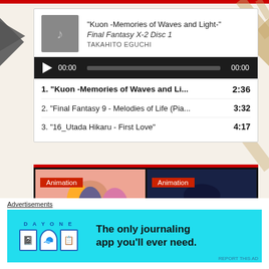[Figure (screenshot): Music player widget showing track 'Kuon -Memories of Waves and Light-' from Final Fantasy X-2 Disc 1 by Takahito Eguchi, with audio progress bar showing 00:00 / 00:00, and a tracklist of 3 items]
1. "Kuon -Memories of Waves and Li...  2:36
2. "Final Fantasy 9 - Melodies of Life (Pia...  3:32
3. "16_Utada Hikaru - First Love"  4:17
[Figure (screenshot): Two anime thumbnail images side by side, each with a red 'Animation' badge overlay]
Advertisements
[Figure (infographic): Day One journaling app advertisement on cyan background: 'The only journaling app you'll ever need.']